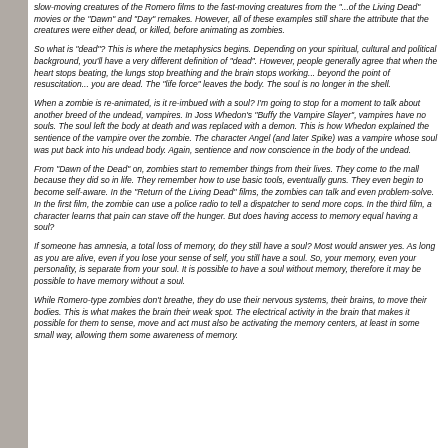slow-moving creatures of the Romero films to the fast-moving creatures from the "...of the Living Dead" movies or the "Dawn" and "Day" remakes. However, all of these examples still share the attribute that the creatures were either dead, or killed, before animating as zombies.
So what is "dead"? This is where the metaphysics begins. Depending on your spiritual, cultural and political background, you'll have a very different definition of "dead". However, people generally agree that when the heart stops beating, the lungs stop breathing and the brain stops working... beyond the point of resuscitation... you are dead. The "life force" leaves the body. The soul is no longer in the shell.
When a zombie is re-animated, is it re-imbued with a soul? I'm going to stop for a moment to talk about another breed of the undead, vampires. In Joss Whedon's "Buffy the Vampire Slayer", vampires have no souls. The soul left the body at death and was replaced with a demon. This is how Whedon explained the sentience of the vampire over the zombie. The character Angel (and later Spike) was a vampire whose soul was put back into his undead body. Again, sentience and now conscience in the body of the undead.
From "Dawn of the Dead" on, zombies start to remember things from their lives. They come to the mall because they did so in life. They remember how to use basic tools, eventually guns. They even begin to become self-aware. In the "Return of the Living Dead" films, the zombies can talk and even problem-solve. In the first film, the zombie can use a police radio to tell a dispatcher to send more cops. In the third film, a character learns that pain can stave off the hunger. But does having access to memory equal having a soul?
If someone has amnesia, a total loss of memory, do they still have a soul? Most would answer yes. As long as you are alive, even if you lose your sense of self, you still have a soul. So, your memory, even your personality, is separate from your soul. It is possible to have a soul without memory, therefore it may be possible to have memory without a soul.
While Romero-type zombies don't breathe, they do use their nervous systems, their brains, to move their bodies. This is what makes the brain their weak spot. The electrical activity in the brain that makes it possible for them to sense, move and act must also be activating the memory centers, at least in some small way, allowing them some awareness of memory.